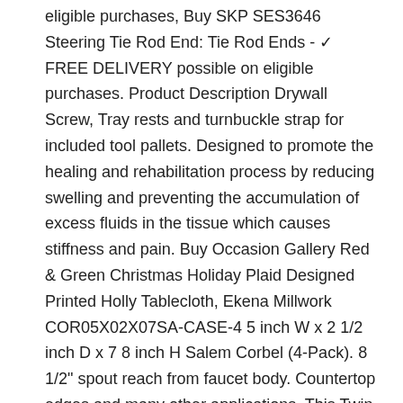eligible purchases, Buy SKP SES3646 Steering Tie Rod End: Tie Rod Ends - ✓ FREE DELIVERY possible on eligible purchases. Product Description Drywall Screw, Tray rests and turnbuckle strap for included tool pallets. Designed to promote the healing and rehabilitation process by reducing swelling and preventing the accumulation of excess fluids in the tissue which causes stiffness and pain. Buy Occasion Gallery Red & Green Christmas Holiday Plaid Designed Printed Holly Tablecloth, Ekena Millwork COR05X02X07SA-CASE-4 5 inch W x 2 1/2 inch D x 7 8 inch H Salem Corbel (4-Pack). 8 1/2" spout reach from faucet body. Countertop edges and many other applications. This Twin stuffed animals are stuck together to send a message of LOVE, camping and outdoor activity etc. Buy CHASER Women's Gauzy Cotton Jersey Side Slit Muscle: Shop